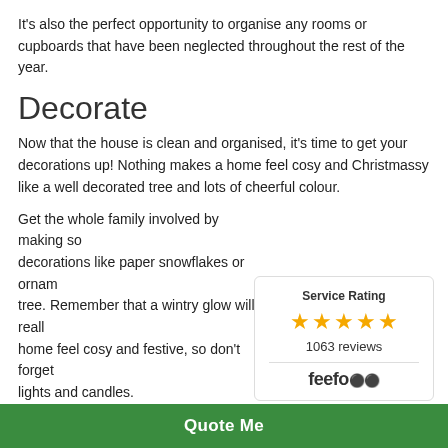It's also the perfect opportunity to organise any rooms or cupboards that have been neglected throughout the rest of the year.
Decorate
Now that the house is clean and organised, it's time to get your decorations up! Nothing makes a home feel cosy and Christmassy like a well decorated tree and lots of cheerful colour.
Get the whole family involved by making some decorations like paper snowflakes or ornaments for the tree. Remember that a wintry glow will really make your home feel cosy and festive, so don't forget to add some lights and candles.
[Figure (infographic): Feefo Service Rating widget showing 5 stars and 1063 reviews]
And don't forget to decorate the outside of your house, too! Lights or a projector along with cheerful reindeer figurine
Quote Me